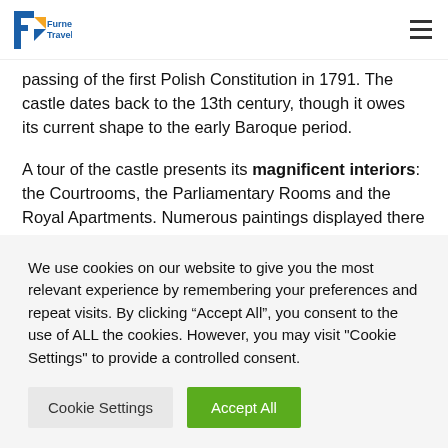Furnel Travel logo and navigation menu
passing of the first Polish Constitution in 1791. The castle dates back to the 13th century, though it owes its current shape to the early Baroque period.
A tour of the castle presents its magnificent interiors: the Courtrooms, the Parliamentary Rooms and the Royal Apartments. Numerous paintings displayed there include
We use cookies on our website to give you the most relevant experience by remembering your preferences and repeat visits. By clicking “Accept All”, you consent to the use of ALL the cookies. However, you may visit "Cookie Settings" to provide a controlled consent.